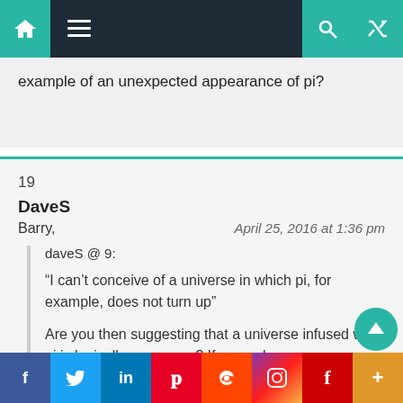Navigation bar with home, menu, search, and shuffle icons
example of an unexpected appearance of pi?
19
DaveS
Barry,
April 25, 2016 at 1:36 pm
daveS @ 9:
“I can’t conceive of a universe in which pi, for example, does not turn up”
Are you then suggesting that a universe infused with pi is logically necessary? If so, make your case.
Social sharing bar: Facebook, Twitter, LinkedIn, Pinterest, Reddit, Instagram, Flipboard, More